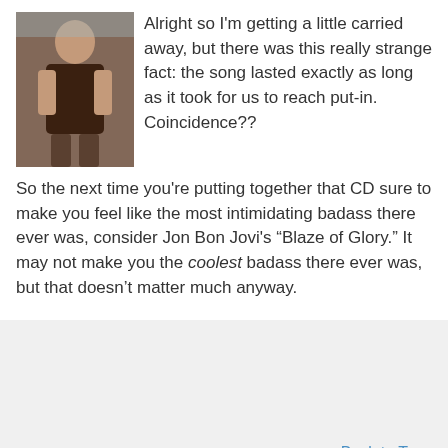[Figure (photo): A man in a brown t-shirt standing outdoors]
Alright so I'm getting a little carried away, but there was this really strange fact: the song lasted exactly as long as it took for us to reach put-in. Coincidence??
So the next time you're putting together that CD sure to make you feel like the most intimidating badass there ever was, consider Jon Bon Jovi's “Blaze of Glory.” It may not make you the coolest badass there ever was, but that doesn’t matter much anyway.
Back to Top
Helpful Links